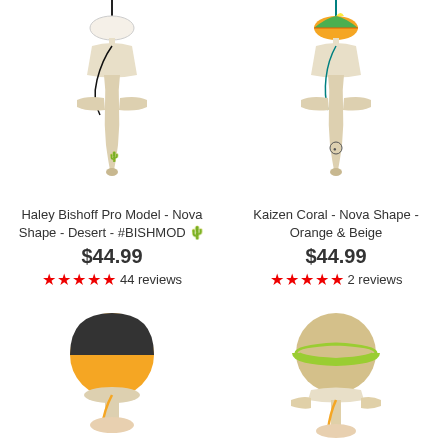[Figure (photo): Haley Bishoff Pro Model Kendama - Nova Shape - Desert - natural wood with black string and cactus stamp]
Haley Bishoff Pro Model - Nova Shape - Desert - #BISHMOD 🌵
$44.99
★★★★★ 44 reviews
[Figure (photo): Kaizen Coral - Nova Shape - Orange & Beige kendama with teal string and colorful ball]
Kaizen Coral - Nova Shape - Orange & Beige
$44.99
★★★★★ 2 reviews
[Figure (photo): Kendama with black and orange ball, bottom half visible]
[Figure (photo): Kendama with natural wood and yellow-green striped ball]